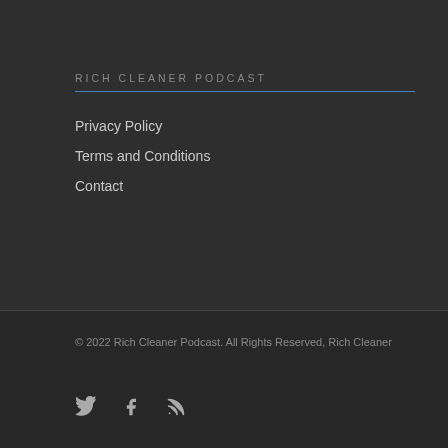RICH CLEANER PODCAST
Privacy Policy
Terms and Conditions
Contact
© 2022 Rich Cleaner Podcast. All Rights Reserved, Rich Cleaner
[Figure (other): Social media icons: Twitter bird, Facebook f, RSS feed icon]